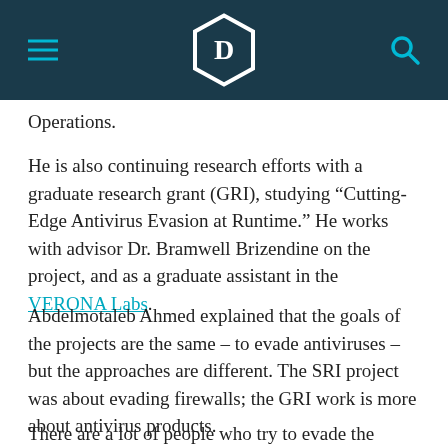D (logo with hamburger menu and search icon)
Operations.
He is also continuing research efforts with a graduate research grant (GRI), studying “Cutting-Edge Antivirus Evasion at Runtime.” He works with advisor Dr. Bramwell Brizendine on the project, and as a graduate assistant in the VERONA Labs.
Abdelmotaleb Ahmed explained that the goals of the projects are the same – to evade antiviruses – but the approaches are different. The SRI project was about evading firewalls; the GRI work is more about antivirus products.
There are a lot of people who try to evade the security of antiviruses so they can learn more about the